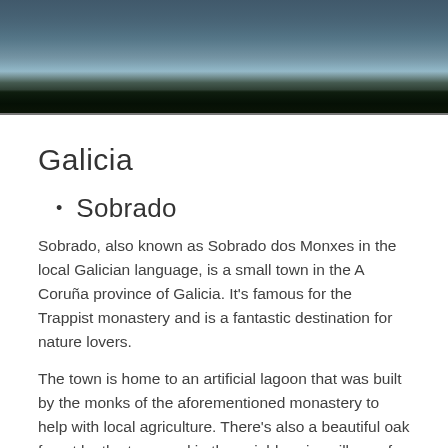[Figure (photo): Aerial or waterside photo showing dark tree reflections on a calm water surface, with blue-grey sky tones and dark treeline, appearing to be a natural lagoon or lake scene.]
Galicia
Sobrado
Sobrado, also known as Sobrado dos Monxes in the local Galician language, is a small town in the A Coruña province of Galicia. It's famous for the Trappist monastery and is a fantastic destination for nature lovers.
The town is home to an artificial lagoon that was built by the monks of the aforementioned monastery to help with local agriculture. There's also a beautiful oak forest by the town and in the neighbouring village of Portacal, you can see the region's second oldest oak tree.
Combarro